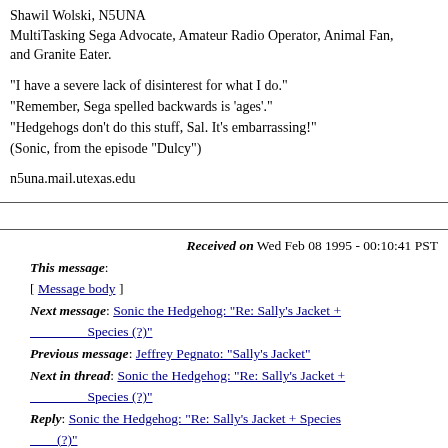Shawil Wolski, N5UNA
MultiTasking Sega Advocate, Amateur Radio Operator, Animal Fan,
and Granite Eater.
"I have a severe lack of disinterest for what I do."
"Remember, Sega spelled backwards is 'ages'."
"Hedgehogs don't do this stuff, Sal. It's embarrassing!"
(Sonic, from the episode "Dulcy")
n5una.mail.utexas.edu
Received on Wed Feb 08 1995 - 00:10:41 PST
This message:
[ Message body ]
Next message: Sonic the Hedgehog: "Re: Sally's Jacket + Species (?)"
Previous message: Jeffrey Pegnato: "Sally's Jacket"
Next in thread: Sonic the Hedgehog: "Re: Sally's Jacket + Species (?)"
Reply: Sonic the Hedgehog: "Re: Sally's Jacket + Species (?)"
Maybe reply: Jamie Wilmoth: "Re: Sally's Jacket + Species (?)"